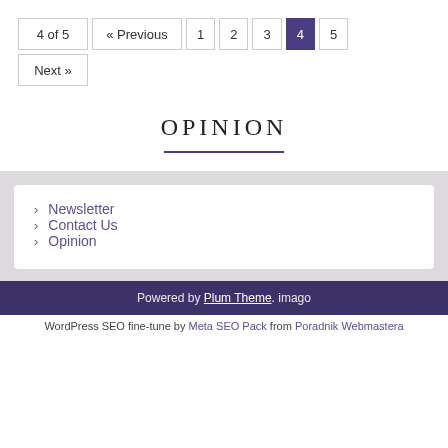4 of 5  « Previous  1  2  3  4  5  Next »
OPINION
> Newsletter
> Contact Us
> Opinion
Powered by Plum Theme. imago
WordPress SEO fine-tune by Meta SEO Pack from Poradnik Webmastera